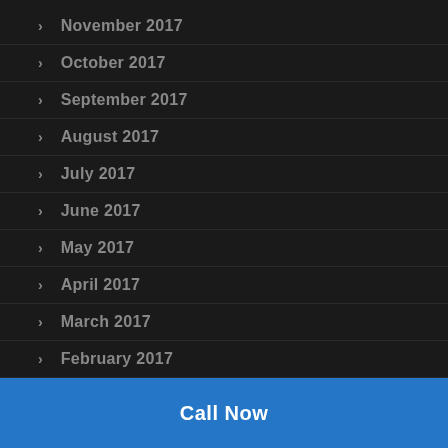November 2017
October 2017
September 2017
August 2017
July 2017
June 2017
May 2017
April 2017
March 2017
February 2017
January 2017
Call Now